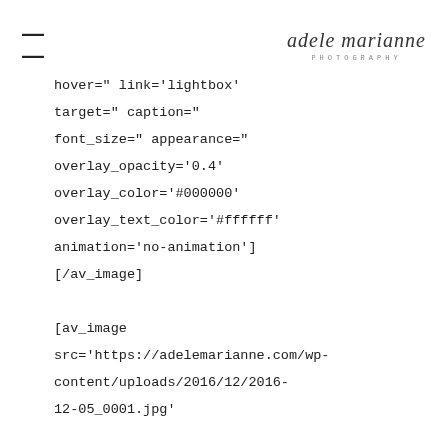≡  adele marianne PHOTOGRAPHY
hover=" link='lightbox'
target=" caption="
font_size=" appearance="
overlay_opacity='0.4'
overlay_color='#000000'
overlay_text_color='#ffffff'
animation='no-animation']
[/av_image]

[av_image
src='https://adelemarianne.com/wp-content/uploads/2016/12/2016-12-05_0001.jpg'